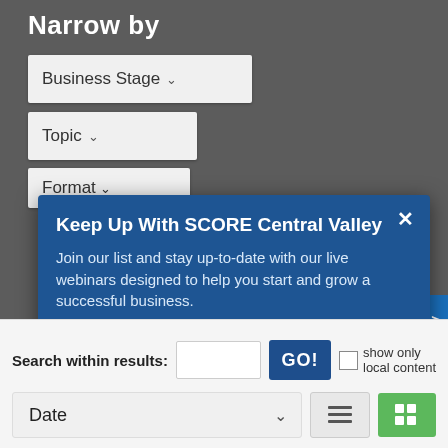Narrow by
Business Stage ∨
Topic ∨
Format ∨
[Figure (screenshot): Modal popup dialog for SCORE Central Valley email signup with title 'Keep Up With SCORE Central Valley', descriptive text, email input field, and SUBMIT button]
Search within results:
GO!
show only local content
Date